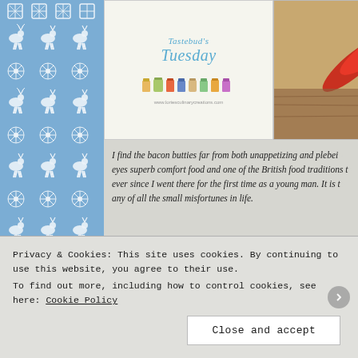[Figure (illustration): Decorative blue Nordic/Christmas pattern border on the left side with snowflakes and reindeer motifs]
[Figure (illustration): Banner image 1: Tastebud's Tuesday logo with small food illustrations, www.loriesculinarycreations.com]
[Figure (illustration): Banner image 2: Food photo with red peppers and the word 'table' in script]
[Figure (illustration): Banner image 3: Tuesday text in red italic on teal background, Wanda Ann from Memories by the Mile, Joy from Yesterfood, Mondays 7:00 p.m.]
I find the bacon butties far from both unappetizing and plebeian eyes superb comfort food and one of the British food traditions th ever since I went there for the first time as a young man. It is th any of all the small misfortunes in life.
Got caught out in the rain: bacon butties. Got a cold: bacon butt your girlfriend/boyfriend/wife/husband: bacon butties. Forg favourite TV show: bacon butties. Unexpected bills: bacon butt and on, never get caught without some rashes of bacon in the frid handy when life treat you unfair – Ted
Privacy & Cookies: This site uses cookies. By continuing to use this website, you agree to their use.
To find out more, including how to control cookies, see here: Cookie Policy
Close and accept